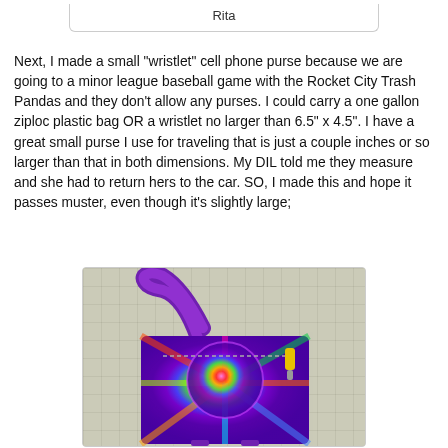Rita
Next, I made a small "wristlet" cell phone purse because we are going to a minor league baseball game with the Rocket City Trash Pandas and they don't allow any purses. I could carry a one gallon ziploc plastic bag OR a wristlet no larger than 6.5" x 4.5". I have a great small purse I use for traveling that is just a couple inches or so larger than that in both dimensions. My DIL told me they measure and she had to return hers to the car. SO, I made this and hope it passes muster, even though it's slightly large;
[Figure (photo): A colorful tie-dye patterned wristlet/cell phone purse with purple, pink, orange, green, and blue swirl pattern, shown on a white grid cutting mat. The purse has a strap and a yellow zipper pull.]